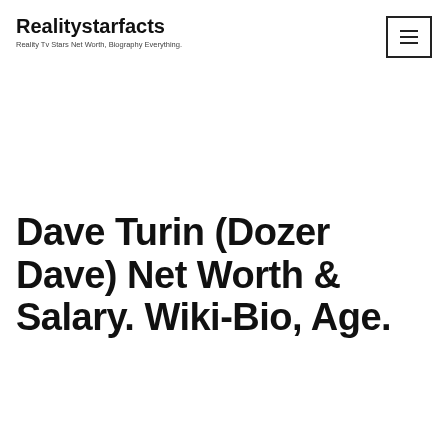Realitystarfacts
Reality Tv Stars Net Worth, Biography Everything.
Dave Turin (Dozer Dave) Net Worth & Salary. Wiki-Bio, Age.